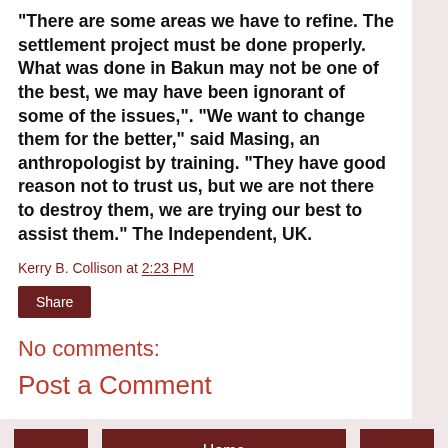"There are some areas we have to refine. The settlement project must be done properly. What was done in Bakun may not be one of the best, we may have been ignorant of some of the issues,". "We want to change them for the better," said Masing, an anthropologist by training. "They have good reason not to trust us, but we are not there to destroy them, we are trying our best to assist them." The Independent, UK.
Kerry B. Collison at 2:23 PM
Share
No comments:
Post a Comment
< Home > View web version